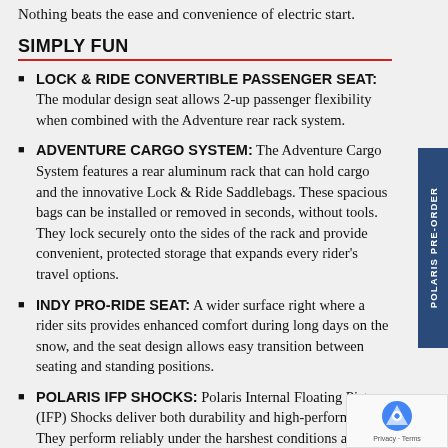Nothing beats the ease and convenience of electric start.
SIMPLY FUN
LOCK & RIDE CONVERTIBLE PASSENGER SEAT: The modular design seat allows 2-up passenger flexibility when combined with the Adventure rear rack system.
ADVENTURE CARGO SYSTEM: The Adventure Cargo System features a rear aluminum rack that can hold cargo and the innovative Lock & Ride Saddlebags. These spacious bags can be installed or removed in seconds, without tools. They lock securely onto the sides of the rack and provide convenient, protected storage that expands every rider's travel options.
INDY PRO-RIDE SEAT: A wider surface right where a rider sits provides enhanced comfort during long days on the snow, and the seat design allows easy transition between seating and standing positions.
POLARIS IFP SHOCKS: Polaris Internal Floating Piston (IFP) Shocks deliver both durability and high-performance. They perform reliably under the harshest conditions and also deliver a smooth ride